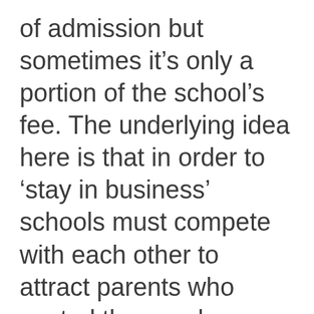of admission but sometimes it's only a portion of the school's fee. The underlying idea here is that in order to 'stay in business' schools must compete with each other to attract parents who control the vouchers. Think of it as a B.C. government gift card you can use anywhere, including, according to Finance Minister Mike de Jong, places that aren't actually schools. And if you haven't done the math